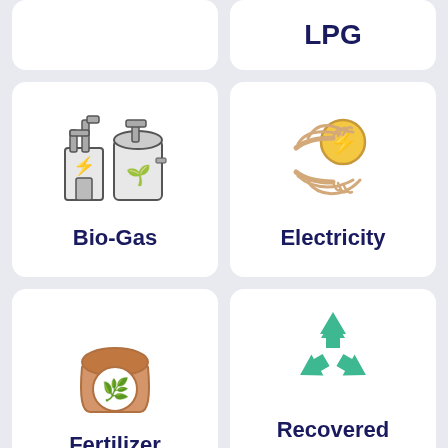[Figure (illustration): Partially visible card top row left - LPG or similar energy icon]
[Figure (illustration): Partially visible card top row right - LPG text label]
[Figure (illustration): Bio-Gas card with factory/industrial biogas plant icon]
[Figure (illustration): Electricity card with hands holding a coin with lightning bolt]
[Figure (illustration): Fertilizer card with a bag of fertilizer with plant icon]
[Figure (illustration): Recovered Materials card with recycling arrows icon]